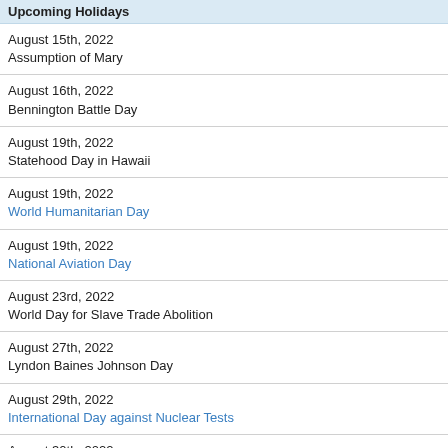Upcoming Holidays
August 15th, 2022
Assumption of Mary
August 16th, 2022
Bennington Battle Day
August 19th, 2022
Stagehood Day in Hawaii
August 19th, 2022
World Humanitarian Day
August 19th, 2022
National Aviation Day
August 23rd, 2022
World Day for Slave Trade Abolition
August 27th, 2022
Lyndon Baines Johnson Day
August 29th, 2022
International Day against Nuclear Tests
August 30th, 2022